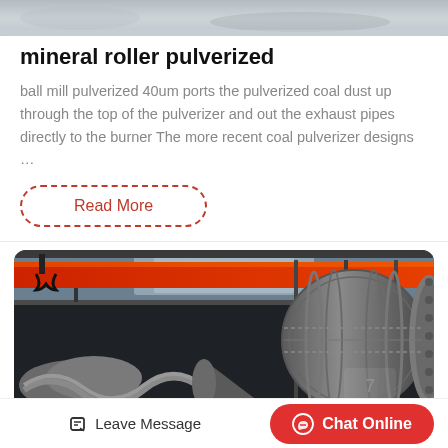[Figure (photo): Top partial industrial/mineral image, cropped at top of page]
mineral roller pulverized
ball mill pulverized 40um ports the pulverized coal dust up through the top of the pulverizer and out the exhaust pipes directly to the burner The more recent coal pulverizer designs …
Read More
[Figure (photo): Industrial mill/roller machinery inside a factory, with orange overhead crane and large cylindrical ball mill equipment]
Leave Message  Chat Online